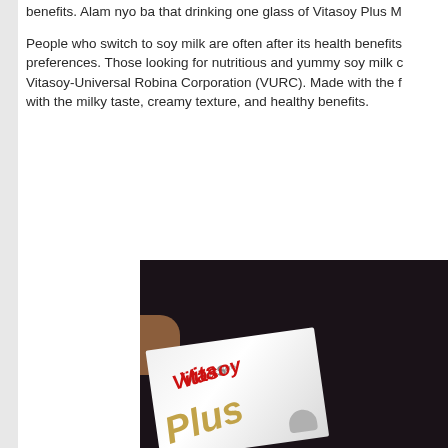benefits.  Alam nyo ba that drinking one glass of Vitasoy Plus M...
People who switch to soy milk are often after its health benefits preferences. Those looking for nutritious and yummy soy milk c Vitasoy-Universal Robina Corporation (VURC). Made with the f with the milky taste, creamy texture, and healthy benefits.
[Figure (photo): A Vitasoy Plus branded soy milk carton photographed against a dark background. The white carton shows the Vitasoy logo in red and the word 'Plus' in gold/brown script. The Soy Experts tagline is also visible. A hand is partially visible holding the carton.]